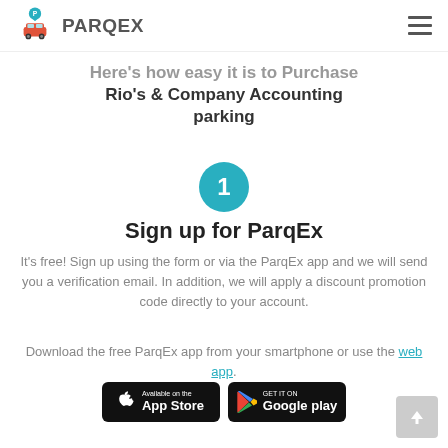PARQEX
Here's how easy it is to Purchase Rio's & Company Accounting parking
[Figure (infographic): Step 1 circle indicator with teal background and white number 1]
Sign up for ParqEx
It's free! Sign up using the form or via the ParqEx app and we will send you a verification email. In addition, we will apply a discount promotion code directly to your account.
Download the free ParqEx app from your smartphone or use the web app.
[Figure (other): App Store and Google Play download badge buttons]